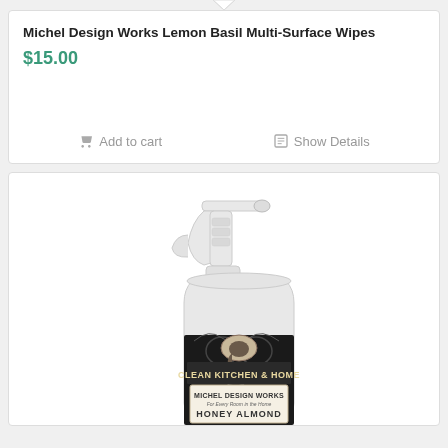Michel Design Works Lemon Basil Multi-Surface Wipes
$15.00
Add to cart
Show Details
[Figure (photo): Michel Design Works Honey Almond Clean Kitchen & Home spray bottle with black and white decorative label, white trigger sprayer]